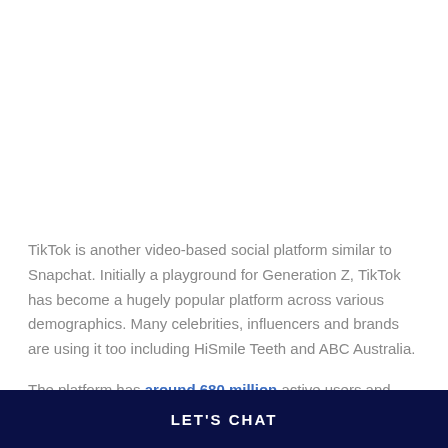TikTok is another video-based social platform similar to Snapchat. Initially a playground for Generation Z, TikTok has become a hugely popular platform across various demographics. Many celebrities, influencers and brands are using it too including HiSmile Teeth and ABC Australia.
The platform has around 680 million active users and, like
LET'S CHAT